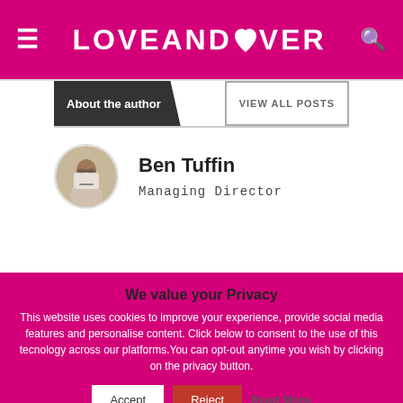LOVEANDOVER
About the author
VIEW ALL POSTS
[Figure (photo): Circular headshot of Ben Tuffin, man wearing glasses and a tie]
Ben Tuffin
Managing Director
We value your Privacy
This website uses cookies to improve your experience, provide social media features and personalise content. Click below to consent to the use of this tecnology across our platforms.You can opt-out anytime you wish by clicking on the privacy button.
Accept | Reject | Read More